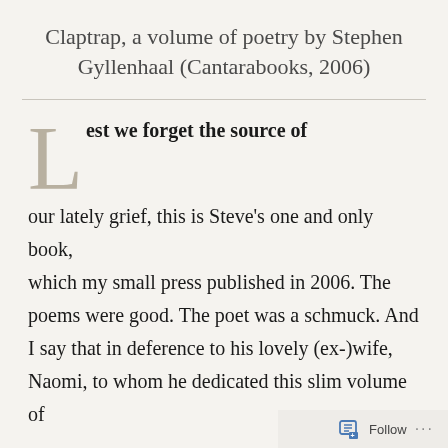Claptrap, a volume of poetry by Stephen Gyllenhaal (Cantarabooks, 2006)
Lest we forget the source of our lately grief, this is Steve's one and only book, which my small press published in 2006. The poems were good. The poet was a schmuck. And I say that in deference to his lovely (ex-)wife, Naomi, to whom he dedicated this slim volume of